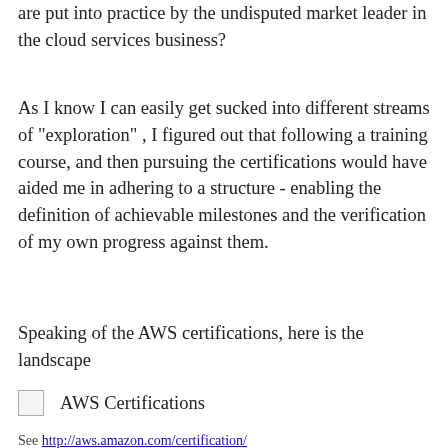are put into practice by the undisputed market leader in the cloud services business?
As I know I can easily get sucked into different streams of "exploration" , I figured out that following a training course, and then pursuing the certifications would have aided me in adhering to a structure - enabling the definition of achievable milestones and the verification of my own progress against them.
Speaking of the AWS certifications, here is the landscape
[Figure (illustration): Broken image placeholder with alt text 'AWS Certifications']
See http://aws.amazon.com/certification/